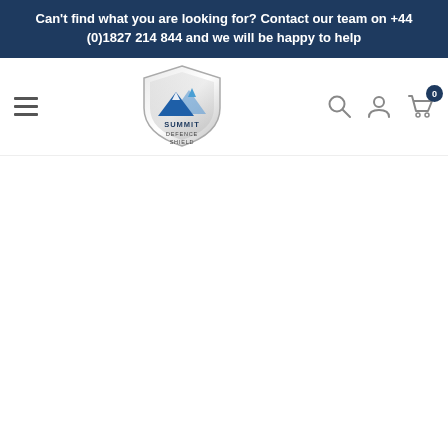Can't find what you are looking for? Contact our team on +44 (0)1827 214 844 and we will be happy to help
[Figure (logo): Summit Defence Shield logo — a silver shield with blue mountain peak graphic and text 'SUMMIT DEFENCE SHIELD' below]